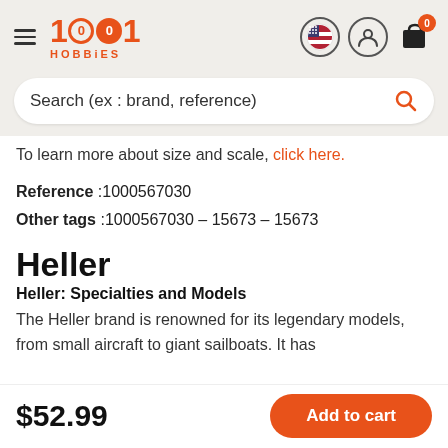1001 Hobbies
Search (ex : brand, reference)
To learn more about size and scale, click here.
Reference :1000567030
Other tags :1000567030 - 15673 - 15673
Heller
Heller: Specialties and Models
The Heller brand is renowned for its legendary models, from small aircraft to giant sailboats. It has
$52.99
Add to cart